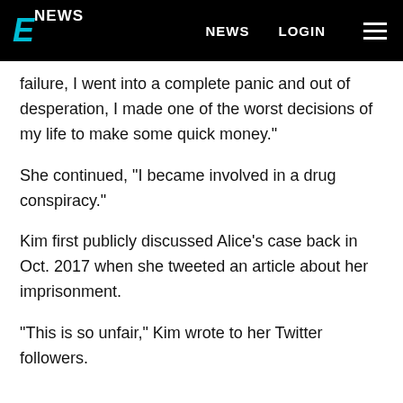E NEWS   NEWS   LOGIN
failure, I went into a complete panic and out of desperation, I made one of the worst decisions of my life to make some quick money."
She continued, "I became involved in a drug conspiracy."
Kim first publicly discussed Alice's case back in Oct. 2017 when she tweeted an article about her imprisonment.
"This is so unfair," Kim wrote to her Twitter followers.